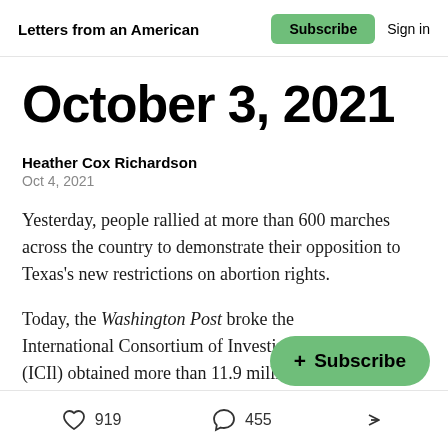Letters from an American | Subscribe | Sign in
October 3, 2021
Heather Cox Richardson
Oct 4, 2021
Yesterday, people rallied at more than 600 marches across the country to demonstrate their opposition to Texas's new restrictions on abortion rights.
Today, the Washington Post broke the International Consortium of Investi… (ICIl) obtained more than 11.9 million unusual records
919 likes  455 comments  Share